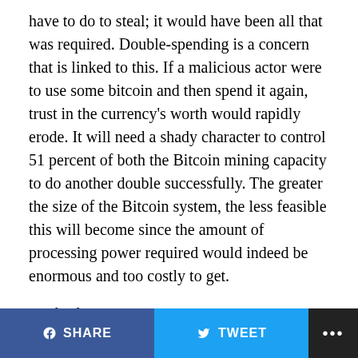have to do to steal; it would have been all that was required. Double-spending is a concern that is linked to this. If a malicious actor were to use some bitcoin and then spend it again, trust in the currency's worth would rapidly erode. It will need a shady character to control 51 percent of both the Bitcoin mining capacity to do another double successfully. The greater the size of the Bitcoin system, the less feasible this will become since the amount of processing power required would indeed be enormous and too costly to get.
Mining
Mining is the method through which this permission public ledger is kept up to date and maintained. The web of small investors who sell the cryptocurrencies between themself is supported by a team of mining who
SHARE   TWEET   ...